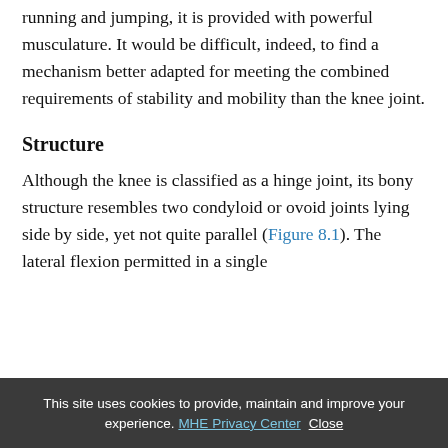running and jumping, it is provided with powerful musculature. It would be difficult, indeed, to find a mechanism better adapted for meeting the combined requirements of stability and mobility than the knee joint.
Structure
Although the knee is classified as a hinge joint, its bony structure resembles two condyloid or ovoid joints lying side by side, yet not quite parallel (Figure 8.1). The lateral flexion permitted in a single
This site uses cookies to provide, maintain and improve your experience. MHE Privacy Center  Close